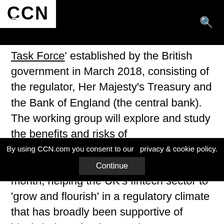CCN
Task Force' established by the British government in March 2018, consisting of the regulator, Her Majesty's Treasury and the Bank of England (the central bank). The working group will explore and study the benefits and risks of cryptocurrencies, UK Chancellor of the Exchequer Philip Hammond said last month, helping the UK's fintech sector to 'grow and flourish' in a regulatory climate that has broadly been supportive of blockchain technology and cryptocurrencies over the years.
By using CCN.com you consent to our  privacy & cookie policy.
Continue